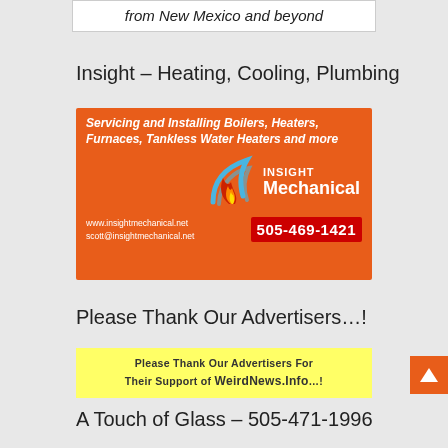from New Mexico and beyond
Insight – Heating, Cooling, Plumbing
[Figure (illustration): Insight Mechanical advertisement on orange background showing 'Servicing and Installing Boilers, Heaters, Furnaces, Tankless Water Heaters and more', with flame logo, website www.insightmechanical.net, email scott@insightmechanical.net, and phone 505-469-1421]
Please Thank Our Advertisers…!
[Figure (infographic): Yellow banner reading: Please Thank Our Advertisers For Their Support of WeirdNews.Info…!]
A Touch of Glass – 505-471-1996